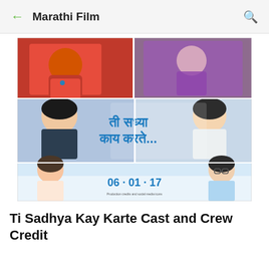← Marathi Film 🔍
[Figure (photo): Movie poster for 'Ti Sadhya Kay Karte' (Marathi film) showing cast members and release date 06.01.17]
Ti Sadhya Kay Karte Cast and Crew Credit